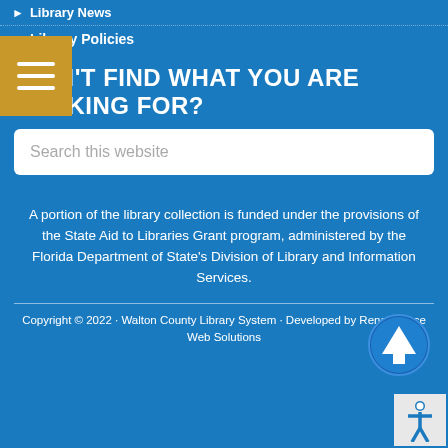Library News
Library Policies
DIDN'T FIND WHAT YOU ARE LOOKING FOR?
Search this website
A portion of the library collection is funded under the provisions of the State Aid to Libraries Grant program, administered by the Florida Department of State's Division of Library and Information Services.
Copyright © 2022 · Walton County Library System · Developed by Renaissance Web Solutions